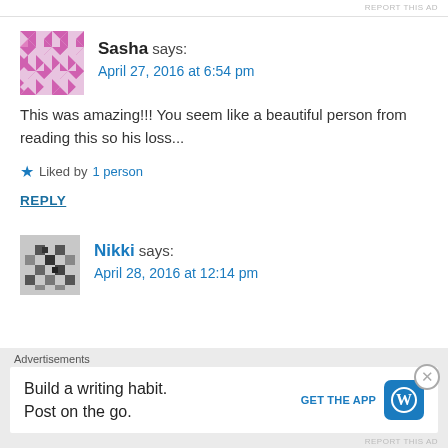REPORT THIS AD
Sasha says:
April 27, 2016 at 6:54 pm
This was amazing!!! You seem like a beautiful person from reading this so his loss...
★ Liked by 1 person
REPLY
Nikki says:
April 28, 2016 at 12:14 pm
Advertisements
Build a writing habit. Post on the go.
GET THE APP